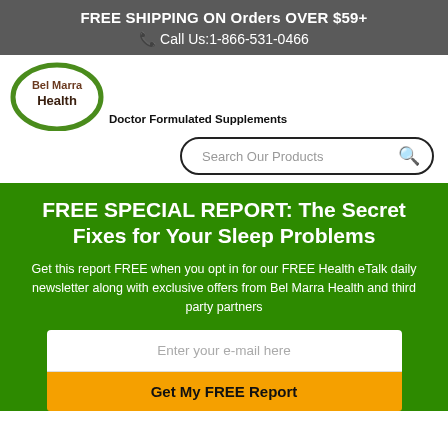FREE SHIPPING ON Orders OVER $59+
📞 Call Us:1-866-531-0466
[Figure (logo): Bel Marra Health logo with green circle]
Doctor Formulated Supplements
[Figure (screenshot): Search Our Products input box with magnifying glass icon]
FREE SPECIAL REPORT: The Secret Fixes for Your Sleep Problems
Get this report FREE when you opt in for our FREE Health eTalk daily newsletter along with exclusive offers from Bel Marra Health and third party partners
Enter your e-mail here
Get My FREE Report